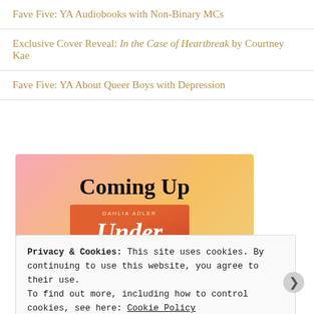Fave Five: YA Audiobooks with Non-Binary MCs
Exclusive Cover Reveal: In the Case of Heartbreak by Courtney Kae
Fave Five: YA About Queer Boys with Depression
[Figure (illustration): Coming Up banner with pink-to-orange gradient background. Text 'Coming Up' in large bold serif font at top. Below is a book cover for 'Under the [something]' by Dahlia Adler, showing illustrated figures of two people.]
Privacy & Cookies: This site uses cookies. By continuing to use this website, you agree to their use.
To find out more, including how to control cookies, see here: Cookie Policy
Close and accept